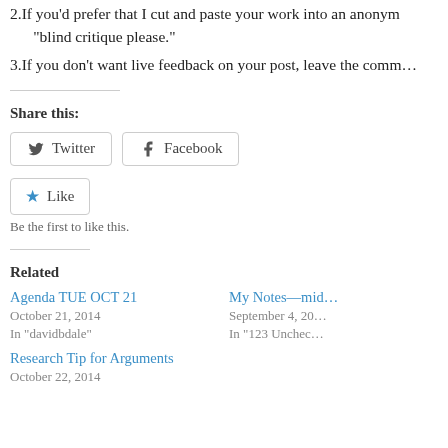2. If you’d prefer that I cut and paste your work into an anonym… “blind critique please.”
3. If you don’t want live feedback on your post, leave the comm…
Share this:
Twitter  Facebook
★ Like
Be the first to like this.
Related
Agenda TUE OCT 21
October 21, 2014
In "davidbdale"
My Notes—mid…
September 4, 20…
In "123 Unchec…
Research Tip for Arguments
October 22, 2014